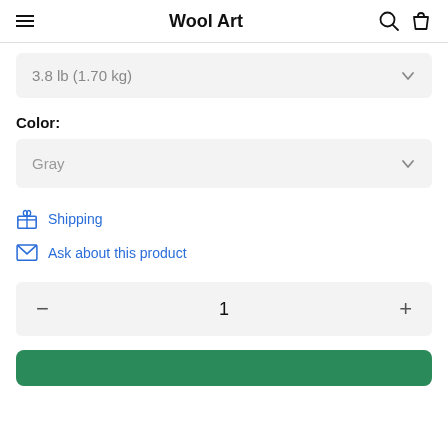Wool Art
3.8 lb (1.70 kg)
Color:
Gray
Shipping
Ask about this product
1